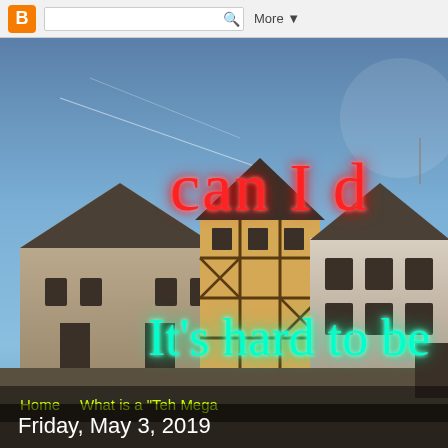Blogger toolbar with logo, search box, and More button
[Figure (photo): Photograph of European-style half-timbered buildings (Fachwerk architecture) against a blue sky with contrails. Overlaid with neon-style text reading 'can I d' in red cursive and 'It's hard to be' in cyan/green cursive, plus navigation links 'Home' and 'What is a "Teh Mega' in yellow-green.]
can I d
It's hard to be
Home    What is a "Teh Mega
Friday, May 3, 2019